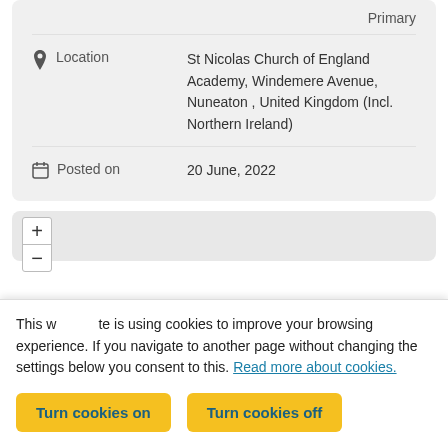Primary
Location
St Nicolas Church of England Academy, Windemere Avenue, Nuneaton , United Kingdom (Incl. Northern Ireland)
Posted on
20 June, 2022
This website is using cookies to improve your browsing experience. If you navigate to another page without changing the settings below you consent to this. Read more about cookies.
Turn cookies on
Turn cookies off